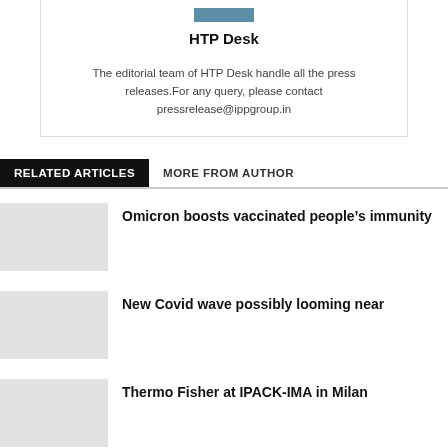HTP Desk
The editorial team of HTP Desk handle all the press releases.For any query, please contact pressrelease@ippgroup.in
RELATED ARTICLES   MORE FROM AUTHOR
Omicron boosts vaccinated people’s immunity
New Covid wave possibly looming near
Thermo Fisher at IPACK-IMA in Milan